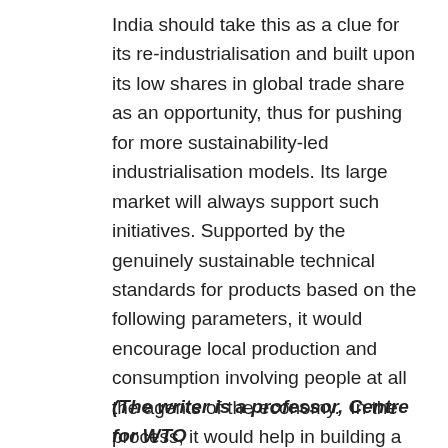India should take this as a clue for its re-industrialisation and built upon its low shares in global trade share as an opportunity, thus for pushing for more sustainability-led industrialisation models. Its large market will always support such initiatives. Supported by the genuinely sustainable technical standards for products based on the following parameters, it would encourage local production and consumption involving people at all the agents of the economy.  In the process, it would help in building a stronger nation, which could withstand any crisis and sustain and improves the quality of life for everyone.
(The writer is a professor, Centre for WTO